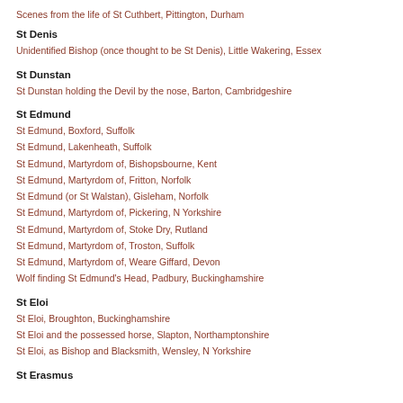Scenes from the life of St Cuthbert, Pittington, Durham
St Denis
Unidentified Bishop (once thought to be St Denis), Little Wakering, Essex
St Dunstan
St Dunstan holding the Devil by the nose, Barton, Cambridgeshire
St Edmund
St Edmund, Boxford, Suffolk
St Edmund, Lakenheath, Suffolk
St Edmund, Martyrdom of, Bishopsbourne, Kent
St Edmund, Martyrdom of, Fritton, Norfolk
St Edmund (or St Walstan), Gisleham, Norfolk
St Edmund, Martyrdom of, Pickering, N Yorkshire
St Edmund, Martyrdom of, Stoke Dry, Rutland
St Edmund, Martyrdom of, Troston, Suffolk
St Edmund, Martyrdom of, Weare Giffard, Devon
Wolf finding St Edmund's Head, Padbury, Buckinghamshire
St Eloi
St Eloi, Broughton, Buckinghamshire
St Eloi and the possessed horse, Slapton, Northamptonshire
St Eloi, as Bishop and Blacksmith, Wensley, N Yorkshire
St Erasmus